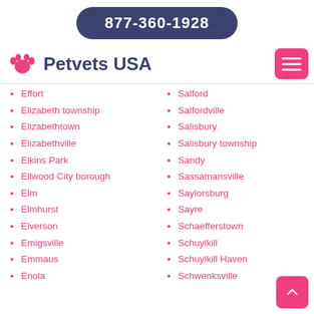877-360-1928
Petvets USA
Effort
Elizabeth township
Elizabethtown
Elizabethville
Elkins Park
Ellwood City borough
Elm
Elmhurst
Elverson
Emigsville
Emmaus
Enola
Salford
Salfordville
Salisbury
Salisbury township
Sandy
Sassamansville
Saylorsburg
Sayre
Schaefferstown
Schuylkill
Schuylkill Haven
Schwenksville